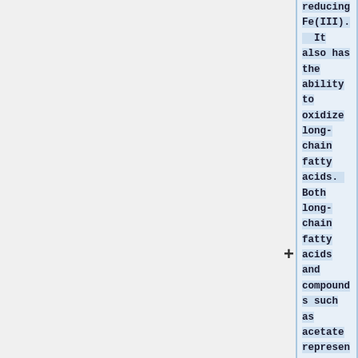reducing Fe(III). It also has the ability to oxidize long-chain fatty acids. Both long-chain fatty acids and compounds such as acetate represent byproducts and debris of many other organisms, which G.